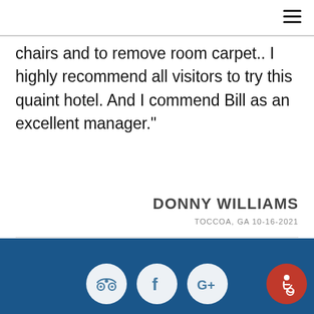chairs and to remove room carpet.. I highly recommend all visitors to try this quaint hotel. And I commend Bill as an excellent manager."
DONNY WILLIAMS
TOCCOA, GA 10-16-2021
[Figure (other): Footer with blue background containing three white circular social media icons (TripAdvisor, Facebook, Google+) and one red circular accessibility icon on the right.]